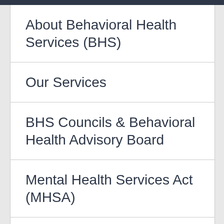About Behavioral Health Services (BHS)
Our Services
BHS Councils & Behavioral Health Advisory Board
Mental Health Services Act (MHSA)
Mobile Crisis Response